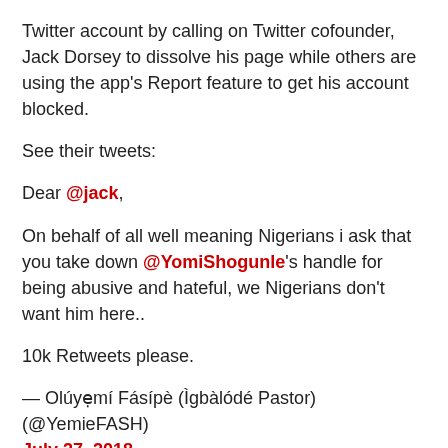Twitter account by calling on Twitter cofounder, Jack Dorsey to dissolve his page while others are using the app's Report feature to get his account blocked.
See their tweets:
Dear @jack,
On behalf of all well meaning Nigerians i ask that you take down @YomiShogunle's handle for being abusive and hateful, we Nigerians don't want him here..
10k Retweets please.
— Olúyẹmí Fásípè (Ìgbàlódé Pastor) (@YemieFASH) July 27, 2018
For those seeking how to contribute to #EndSARS #DefendPoliceNG...